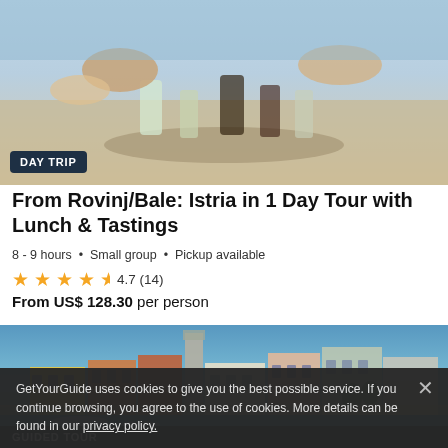[Figure (photo): Top photo showing hands clinking shot glasses on a tray, food and drinks, outdoor setting]
DAY TRIP
From Rovinj/Bale: Istria in 1 Day Tour with Lunch & Tastings
8 - 9 hours • Small group • Pickup available
★★★★½ 4.7 (14)
From US$ 128.30 per person
[Figure (photo): Bottom photo showing colorful waterfront buildings of Rovinj, Croatia, harbor with boats]
GUIDED TOUR
GetYourGuide uses cookies to give you the best possible service. If you continue browsing, you agree to the use of cookies. More details can be found in our privacy policy.